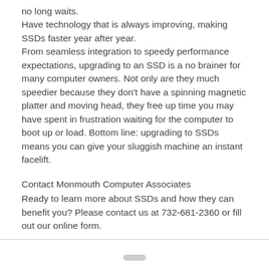no long waits.
Have technology that is always improving, making SSDs faster year after year.
From seamless integration to speedy performance expectations, upgrading to an SSD is a no brainer for many computer owners. Not only are they much speedier because they don't have a spinning magnetic platter and moving head, they free up time you may have spent in frustration waiting for the computer to boot up or load. Bottom line: upgrading to SSDs means you can give your sluggish machine an instant facelift.
Contact Monmouth Computer Associates
Ready to learn more about SSDs and how they can benefit you? Please contact us at 732-681-2360 or fill out our online form.